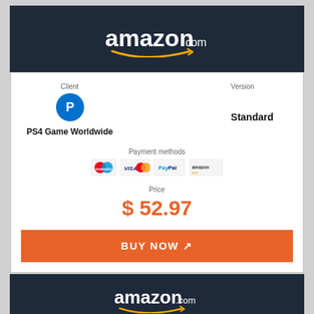amazon.com
Client
[Figure (logo): PlayStation blue circular logo icon]
PS4 Game Worldwide
Version
Standard
Payment methods
[Figure (logo): Payment method logos: Maestro, Visa/Mastercard, PayPal, Amazon Pay]
Price
$ 52.97
BUY NOW ↗
amazon.com